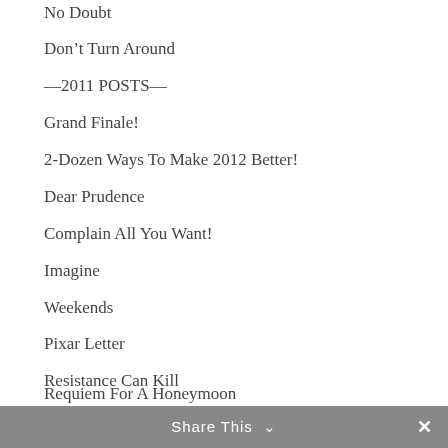No Doubt
Don't Turn Around
—2011 POSTS—
Grand Finale!
2-Dozen Ways To Make 2012 Better!
Dear Prudence
Complain All You Want!
Imagine
Weekends
Pixar Letter
Resistance Can Kill
Amateurs vs. Pros
Requiem For A Honeymoon
Share This ∨ ✕